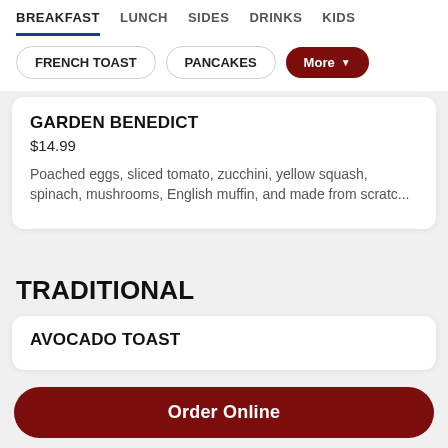BREAKFAST  LUNCH  SIDES  DRINKS  KIDS
FRENCH TOAST
PANCAKES
More
GARDEN BENEDICT
$14.99
Poached eggs, sliced tomato, zucchini, yellow squash, spinach, mushrooms, English muffin, and made from scratc...
TRADITIONAL
AVOCADO TOAST
Order Online